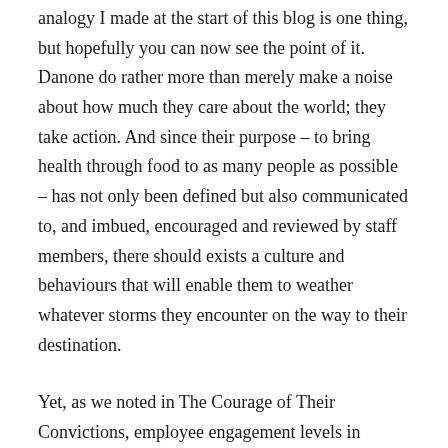analogy I made at the start of this blog is one thing, but hopefully you can now see the point of it. Danone do rather more than merely make a noise about how much they care about the world; they take action. And since their purpose – to bring health through food to as many people as possible – has not only been defined but also communicated to, and imbued, encouraged and reviewed by staff members, there should exists a culture and behaviours that will enable them to weather whatever storms they encounter on the way to their destination.
Yet, as we noted in The Courage of Their Convictions, employee engagement levels in general remain consistently low. The problem appears to be linked to the failure of companies to deal effectively with new challenges and opportunities: the pace and disruptive effects of the digital